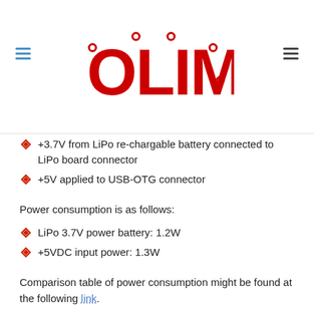[Figure (logo): OLIMEX logo in red with circuit board styling, flanked by hamburger menu icons]
+3.7V from LiPo re-chargable battery connected to LiPo board connector
+5V applied to USB-OTG connector
Power consumption is as follows:
LiPo 3.7V power battery: 1.2W
+5VDC input power: 1.3W
Comparison table of power consumption might be found at the following link.
LiPo battery allow backup power supply when main power is interrupted. A20-OLinuXino-LIME have power managment IC which charge the battery when main power is present, when power is interrupted the LiPo battery automatically provide backup power supply. Step-up converter prvide 5V for the